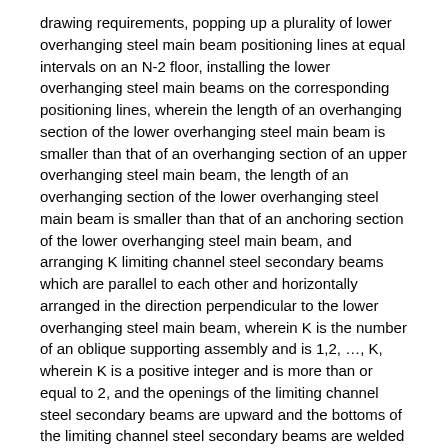drawing requirements, popping up a plurality of lower overhanging steel main beam positioning lines at equal intervals on an N-2 floor, installing the lower overhanging steel main beams on the corresponding positioning lines, wherein the length of an overhanging section of the lower overhanging steel main beam is smaller than that of an overhanging section of an upper overhanging steel main beam, the length of an overhanging section of the lower overhanging steel main beam is smaller than that of an anchoring section of the lower overhanging steel main beam, and arranging K limiting channel steel secondary beams which are parallel to each other and horizontally arranged in the direction perpendicular to the lower overhanging steel main beam, wherein K is the number of an oblique supporting assembly and is 1,2, ..., K, wherein K is a positive integer and is more than or equal to 2, and the openings of the limiting channel steel secondary beams are upward and the bottoms of the limiting channel steel secondary beams are welded on the upper part of the lower overhanging steel main beam;
104, supporting the upper cantilever steel girder and the lower cantilever steel girder: the upper end of each first